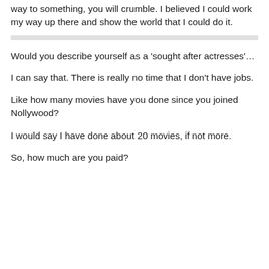way to something, you will crumble. I believed I could work my way up there and show the world that I could do it.
Would you describe yourself as a 'sought after actresses'…
I can say that. There is really no time that I don't have jobs.
Like how many movies have you done since you joined Nollywood?
I would say I have done about 20 movies, if not more.
So, how much are you paid?